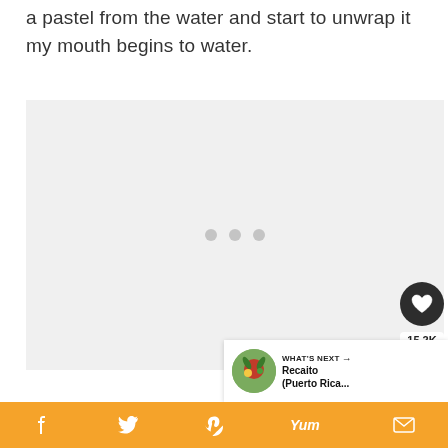a pastel from the water and start to unwrap it my mouth begins to water.
[Figure (photo): Light gray image placeholder with three small gray dots in the center, representing a loading or empty image state.]
15.2K
WHAT'S NEXT → Recaito (Puerto Rica...
Social share bar with Facebook, Twitter, Pinterest, Yum, and email icons on orange background